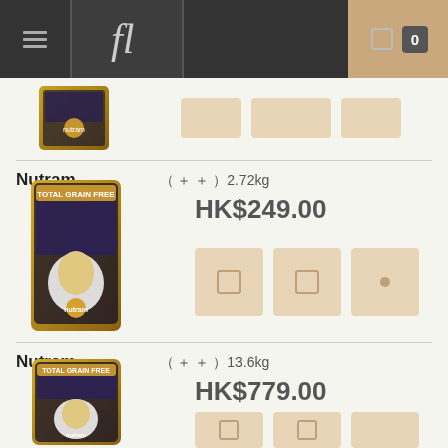Navigation bar with menu and cart (0 items)
[Figure (photo): Partial product image of Nutram dog food bag, partially scrolled out of view]
Nutram ( + + ) 2.72kg
HK$249.00
[Figure (photo): Nutram dog food bag product image for 2.72kg variant]
Nutram ( + + ) 13.6kg
HK$779.00
[Figure (photo): Nutram dog food bag product image for 13.6kg variant]